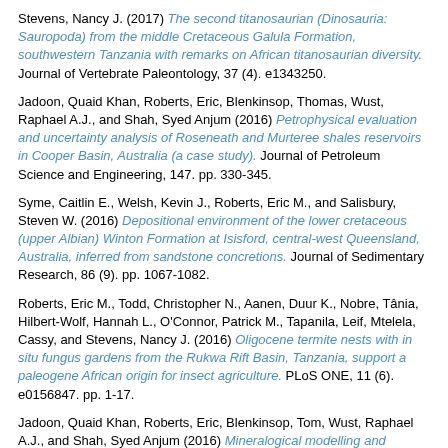Stevens, Nancy J. (2017) The second titanosaurian (Dinosauria: Sauropoda) from the middle Cretaceous Galula Formation, southwestern Tanzania with remarks on African titanosaurian diversity. Journal of Vertebrate Paleontology, 37 (4). e1343250.
Jadoon, Quaid Khan, Roberts, Eric, Blenkinsop, Thomas, Wust, Raphael A.J., and Shah, Syed Anjum (2016) Petrophysical evaluation and uncertainty analysis of Roseneath and Murteree shales reservoirs in Cooper Basin, Australia (a case study). Journal of Petroleum Science and Engineering, 147. pp. 330-345.
Syme, Caitlin E., Welsh, Kevin J., Roberts, Eric M., and Salisbury, Steven W. (2016) Depositional environment of the lower cretaceous (upper Albian) Winton Formation at Isisford, central-west Queensland, Australia, inferred from sandstone concretions. Journal of Sedimentary Research, 86 (9). pp. 1067-1082.
Roberts, Eric M., Todd, Christopher N., Aanen, Duur K., Nobre, Tânia, Hilbert-Wolf, Hannah L., O'Connor, Patrick M., Tapanila, Leif, Mtelela, Cassy, and Stevens, Nancy J. (2016) Oligocene termite nests with in situ fungus gardens from the Rukwa Rift Basin, Tanzania, support a paleogene African origin for insect agriculture. PLoS ONE, 11 (6). e0156847. pp. 1-17.
Jadoon, Quaid Khan, Roberts, Eric, Blenkinsop, Tom, Wust, Raphael A.J., and Shah, Syed Anjum (2016) Mineralogical modelling and petrophysical parameters in Permian gas shales from the Roseneath and Murteree formations, Cooper Basin, Australia. Petroleum Exploration and Development, 43 (2). pp. 277-284.